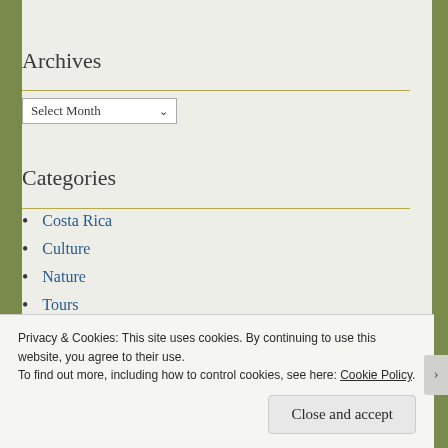Archives
Select Month
Categories
Costa Rica
Culture
Nature
Tours
Travel
Privacy & Cookies: This site uses cookies. By continuing to use this website, you agree to their use.
To find out more, including how to control cookies, see here: Cookie Policy
Close and accept